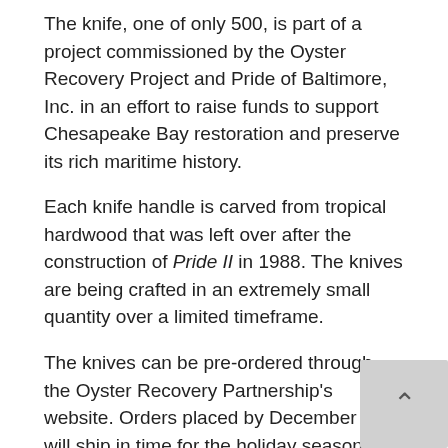The knife, one of only 500, is part of a project commissioned by the Oyster Recovery Project and Pride of Baltimore, Inc. in an effort to raise funds to support Chesapeake Bay restoration and preserve its rich maritime history.
Each knife handle is carved from tropical hardwood that was left over after the construction of Pride II in 1988. The knives are being crafted in an extremely small quantity over a limited timeframe.
The knives can be pre-ordered through the Oyster Recovery Partnership's website. Orders placed by December 18 will ship in time for the holiday season: click here for complete details.
About The Historic Project
Throughout her storied
[Figure (photo): Broken image placeholder with caption: Pride of Baltimore II, courtesy N Stager]